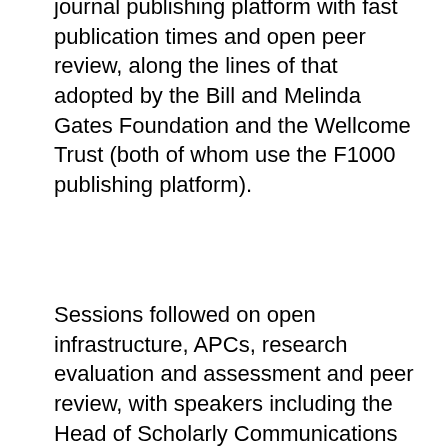journal publishing platform with fast publication times and open peer review, along the lines of that adopted by the Bill and Melinda Gates Foundation and the Wellcome Trust (both of whom use the F1000 publishing platform).
Sessions followed on open infrastructure, APCs, research evaluation and assessment and peer review, with speakers including the Head of Scholarly Communications at Cambridge University Library, Danny Kingsley, the Publisher for PLOS, Louise Page, and the Head of Open Research for the Wellcome Trust, Robert Kiley. Interspersed, were panel presentations featuring related initiatives in OA infrastructure, policy and publishing.
The conference and the society are geared towards